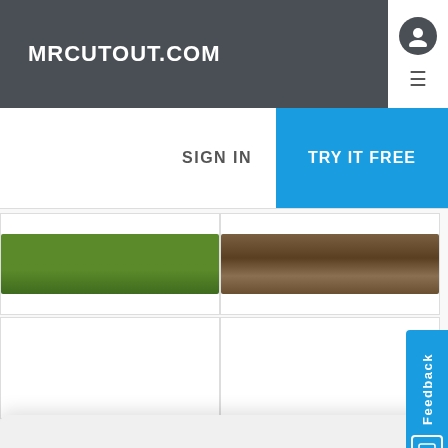MRCUTOUT.COM
SIGN IN
TRY IT FREE
[Figure (screenshot): Two landscape thumbnail images: green grass field and brown terrain/hill]
We use cookies to give you the best experience and to analyze our traffic. For more information read our Privacy Policy
OK